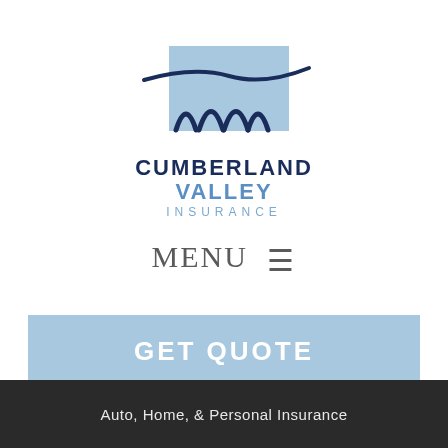[Figure (logo): Cumberland Valley Insurance logo with a light blue rectangle containing an arch bridge graphic and a dark blue swoosh line above it]
CUMBERLAND VALLEY INSURANCE
MENU ≡
GET QUOTE
Auto, Home, & Personal Insurance